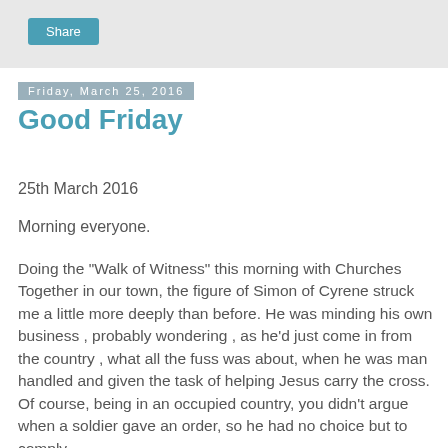Share
Friday, March 25, 2016
Good Friday
25th March 2016
Morning everyone.
Doing the "Walk of Witness" this morning with Churches Together in our town, the figure of Simon of Cyrene struck me a little more deeply than before. He was minding his own business , probably wondering , as he'd just come in from the country , what all the fuss was about, when he was man handled and given the task of helping Jesus carry the cross. Of course, being in an occupied country, you didn't argue when a soldier gave an order, so he had no choice but to comply.